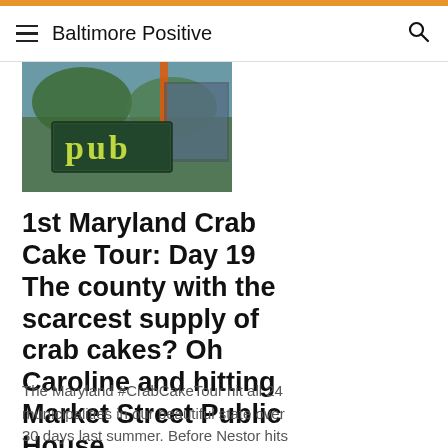Baltimore Positive
[Figure (photo): Photo of a pub sign reading 'PUB' in yellow-green letters on a green background, taken outdoors with trees and building visible]
1st Maryland Crab Cake Tour: Day 19 The county with the scarcest supply of crab cakes? Oh Caroline and hitting Market Street Public House...
The Maryland #CrabCakeTour hit all 24 municipalities in our beautiful state over 30 days last summer. Before Nestor hits the road on August 1st for